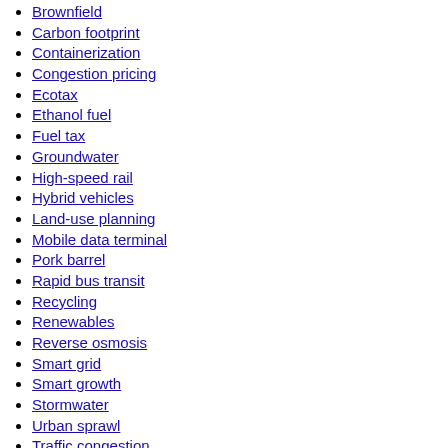Brownfield
Carbon footprint
Containerization
Congestion pricing
Ecotax
Ethanol fuel
Fuel tax
Groundwater
High-speed rail
Hybrid vehicles
Land-use planning
Mobile data terminal
Pork barrel
Rapid bus transit
Recycling
Renewables
Reverse osmosis
Smart grid
Smart growth
Stormwater
Urban sprawl
Traffic congestion
Transit-oriented development
Fuel efficiency
Waste-to-energy